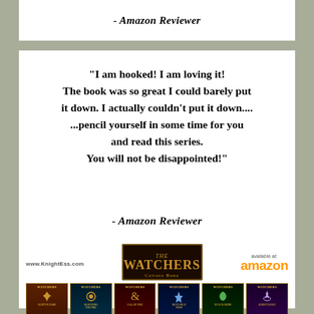- Amazon Reviewer
“I am hooked! I am loving it! The book was so great I could barely put it down. I actually couldn’t put it down.... ...pencil yourself in some time for you and read this series. You will not be disappointed!”
- Amazon Reviewer
[Figure (logo): The Watchers series logo and book covers with www.KnightEss.com and Amazon branding]